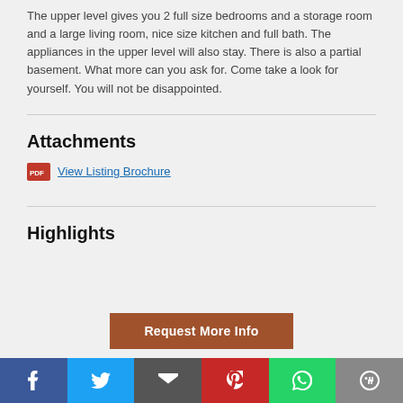The upper level gives you 2 full size bedrooms and a storage room and a large living room, nice size kitchen and full bath. The appliances in the upper level will also stay. There is also a partial basement. What more can you ask for. Come take a look for yourself. You will not be disappointed.
Attachments
View Listing Brochure
Highlights
Request More Info